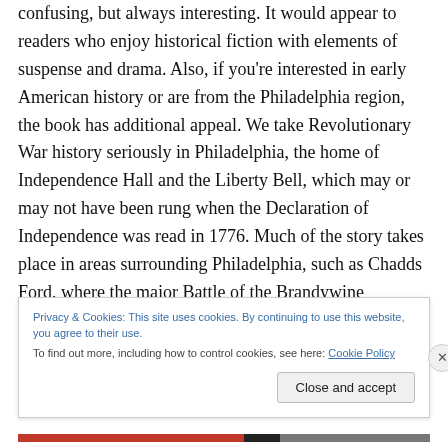confusing, but always interesting. It would appear to readers who enjoy historical fiction with elements of suspense and drama.  Also, if you're interested in early American history or are from the Philadelphia region, the book has additional appeal.  We take Revolutionary War history seriously in Philadelphia, the home of Independence Hall and the Liberty Bell, which may or may not have been rung when the Declaration of Independence was read in 1776.  Much of the story takes place in areas surrounding Philadelphia, such as Chadds Ford, where the major Battle of the Brandywine
Privacy & Cookies: This site uses cookies. By continuing to use this website, you agree to their use.
To find out more, including how to control cookies, see here: Cookie Policy